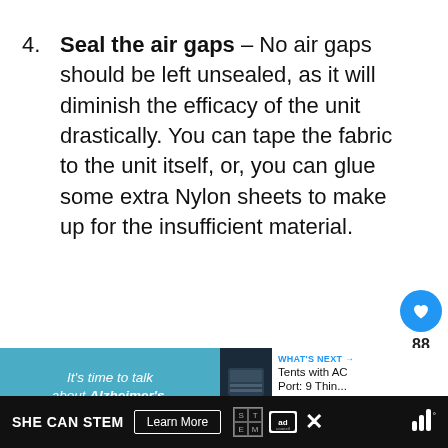4. Seal the air gaps – No air gaps should be left unsealed, as it will diminish the efficacy of the unit drastically. You can tape the fabric to the unit itself, or, you can glue some extra Nylon sheets to make up for the insufficient material.
[Figure (other): Social interaction buttons: heart/like button (blue circle), like count '88', and share button (white circle with share icon)]
[Figure (other): Advertisement banner: teal background with text 'It's time to talk about Alzheimer's.' and 'Learn More' button, next to a 'What's Next' section with 'Tents with AC Port: 9 Thin...' and Alzheimer's Association logo]
SHE CAN STEM  Learn More